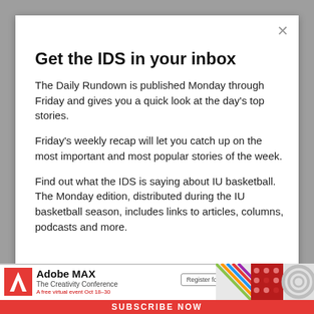Get the IDS in your inbox
The Daily Rundown is published Monday through Friday and gives you a quick look at the day's top stories.
Friday's weekly recap will let you catch up on the most important and most popular stories of the week.
Find out what the IDS is saying about IU basketball. The Monday edition, distributed during the IU basketball season, includes links to articles, columns, podcasts and more.
[Figure (screenshot): Adobe MAX advertisement banner at bottom: Adobe logo, 'Adobe MAX The Creativity Conference', register button, colorful pattern graphics, and red 'SUBSCRIBE NOW' bar]
SUBSCRIBE NOW